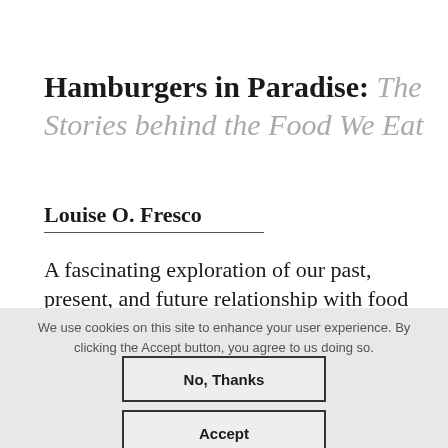Hamburgers in Paradise: The Stories behind the Food We Eat
Louise O. Fresco
A fascinating exploration of our past, present, and future relationship with food
We use cookies on this site to enhance your user experience. By clicking the Accept button, you agree to us doing so.
No, Thanks
Accept